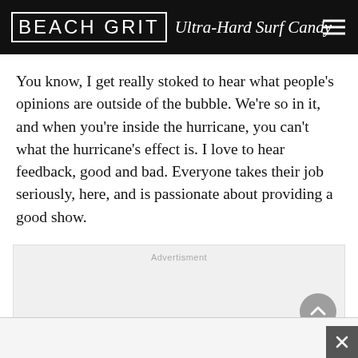BEACH GRIT Ultra-Hard Surf Candy
You know, I get really stoked to hear what people’s opinions are outside of the bubble. We’re so in it, and when you’re inside the hurricane, you can’t what the hurricane’s effect is. I love to hear feedback, good and bad. Everyone takes their job seriously, here, and is passionate about providing a good show.
[Figure (other): Advertisement placeholder box with 'Advertisment' label text and a back-to-top circular button]